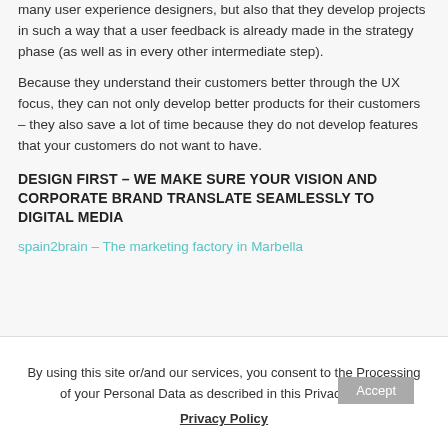successful products. This means not only that they hire many user experience designers, but also that they develop projects in such a way that a user feedback is already made in the strategy phase (as well as in every other intermediate step).
Because they understand their customers better through the UX focus, they can not only develop better products for their customers – they also save a lot of time because they do not develop features that your customers do not want to have.
DESIGN FIRST – WE MAKE SURE YOUR VISION AND CORPORATE BRAND TRANSLATE SEAMLESSLY TO DIGITAL MEDIA
spain2brain – The marketing factory in Marbella
By using this site or/and our services, you consent to the Processing of your Personal Data as described in this Privacy Policy.
Privacy Policy